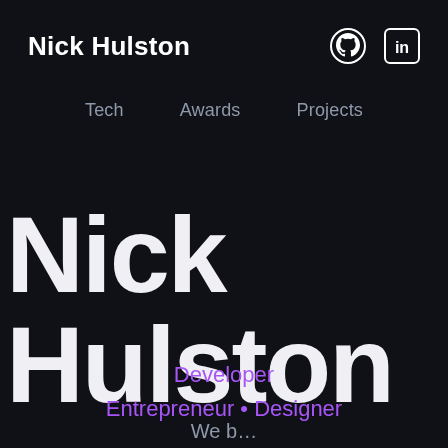Nick Hulston
Tech
Awards
Projects
Nick
Hulston
Developer
Entrepreneur • Designer
We b...